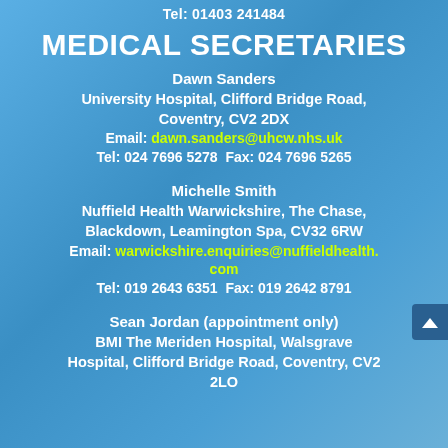Tel: 01403 241484
MEDICAL SECRETARIES
Dawn Sanders
University Hospital, Clifford Bridge Road, Coventry, CV2 2DX
Email: dawn.sanders@uhcw.nhs.uk
Tel: 024 7696 5278  Fax: 024 7696 5265
Michelle Smith
Nuffield Health Warwickshire, The Chase, Blackdown, Leamington Spa, CV32 6RW
Email: warwickshire.enquiries@nuffieldhealth.com
Tel: 019 2643 6351  Fax: 019 2642 8791
Sean Jordan (appointment only)
BMI The Meriden Hospital, Walsgrave Hospital, Clifford Bridge Road, Coventry, CV2 2LO